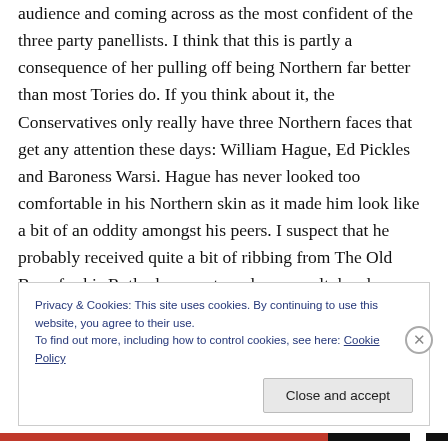audience and coming across as the most confident of the three party panellists. I think that this is partly a consequence of her pulling off being Northern far better than most Tories do. If you think about it, the Conservatives only really have three Northern faces that get any attention these days: William Hague, Ed Pickles and Baroness Warsi. Hague has never looked too comfortable in his Northern skin as it made him look like a bit of an oddity amongst his peers. I suspect that he probably received quite a bit of ribbing from The Old Boys for his Rotherham roots and as a result, he always
Privacy & Cookies: This site uses cookies. By continuing to use this website, you agree to their use.
To find out more, including how to control cookies, see here: Cookie Policy